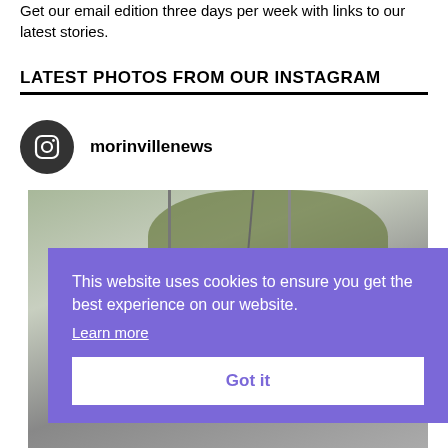Get our email edition three days per week with links to our latest stories.
LATEST PHOTOS FROM OUR INSTAGRAM
[Figure (logo): Instagram icon in a dark circular badge next to the username morinvillenews]
morinvillenews
[Figure (photo): Blurred close-up photo showing hanging ropes and green foliage, partially obscured by cookie consent banner]
This website uses cookies to ensure you get the best experience on our website.
Learn more
Got it